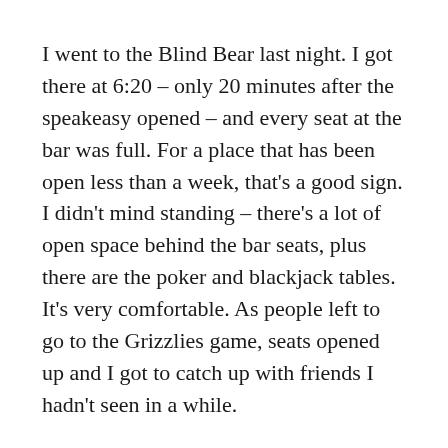I went to the Blind Bear last night. I got there at 6:20 – only 20 minutes after the speakeasy opened – and every seat at the bar was full. For a place that has been open less than a week, that's a good sign. I didn't mind standing – there's a lot of open space behind the bar seats, plus there are the poker and blackjack tables. It's very comfortable. As people left to go to the Grizzlies game, seats opened up and I got to catch up with friends I hadn't seen in a while.
At 8 Charles started calling trivia. It's the exact same format as Silly Goose on Tuesdays. Jeannette told me they're working on getting a better sound system – it's one of those things